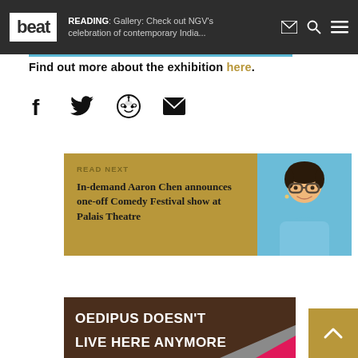beat | READING: Gallery: Check out NGV's celebration of contemporary India...
Find out more about the exhibition here.
[Figure (infographic): Social share icons: Facebook, Twitter, Reddit, Email]
[Figure (infographic): READ NEXT card: In-demand Aaron Chen announces one-off Comedy Festival show at Palais Theatre, with photo of Aaron Chen]
[Figure (infographic): Advertisement banner: OEDIPUS DOESN'T LIVE HERE ANYMORE with scroll-to-top button]